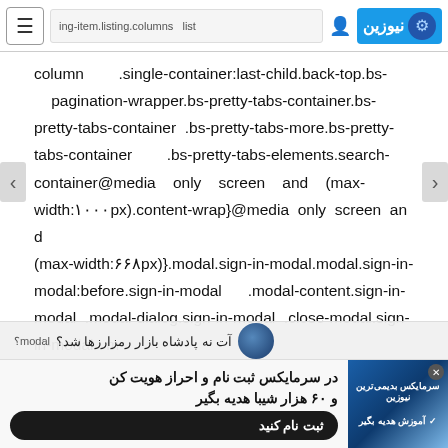≡ ing-item.listing.columns list نیوزین
column .single-container:last-child.back-top.bs-pagination-wrapper.bs-pretty-tabs-container.bs-pretty-tabs-container .bs-pretty-tabs-more.bs-pretty-tabs-container .bs-pretty-tabs-elements.search-container@media only screen and (max-width:۱۰۰۰px).content-wrap}@media only screen and (max-width:۶۶۸px)}.modal.sign-in-modal.modal.sign-in-modal:before.sign-in-modal .modal-content.sign-in-modal .modal-dialog.sign-in-modal .close-modal.sign-in-modal m
آت نه پادشاه بازار رمزارزها شد؟
در سرمایکس ثبت نام و احراز هویت کن و ۶۰ هزار شیبا هدیه بگیر
سرمایکس بدیمی‌ترین نیوزین